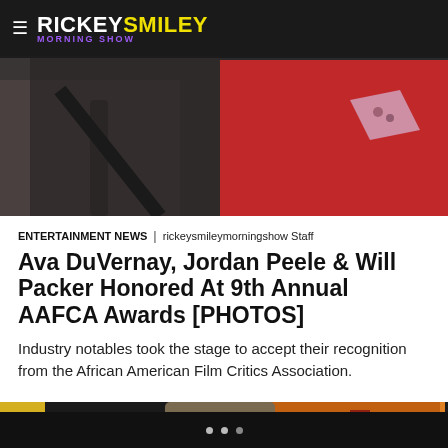RICKEYSMILEY MORNING SHOW
[Figure (photo): Top portion of an event photo showing people in formal attire, one in a red outfit with a pocket square]
ENTERTAINMENT NEWS | rickeysmileymorningshow Staff
Ava DuVernay, Jordan Peele & Will Packer Honored At 9th Annual AAFCA Awards [PHOTOS]
Industry notables took the stage to accept their recognition from the African American Film Critics Association.
[Figure (photo): Man wearing a flat cap being interviewed at a radio/TV studio with a 'Dish Atlanta' screen visible in the background]